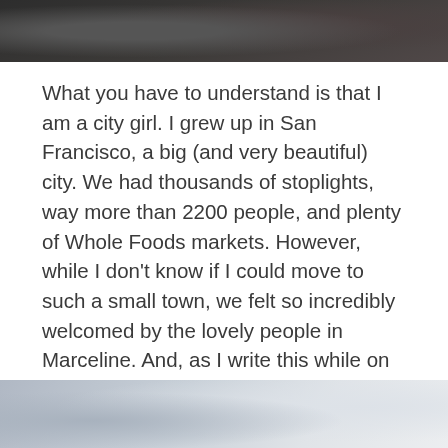[Figure (photo): Top portion of a photo showing people, partially cropped, dark tones]
What you have to understand is that I am a city girl. I grew up in San Francisco, a big (and very beautiful) city. We had thousands of stoplights, way more than 2200 people, and plenty of Whole Foods markets. However, while I don't know if I could move to such a small town, we felt so incredibly welcomed by the lovely people in Marceline. And, as I write this while on the plane leaving Kansas City, I cannot wait to go back!
[Figure (photo): Bottom portion of a photo showing a sky/outdoor scene, light blue and grey tones, partially cropped]